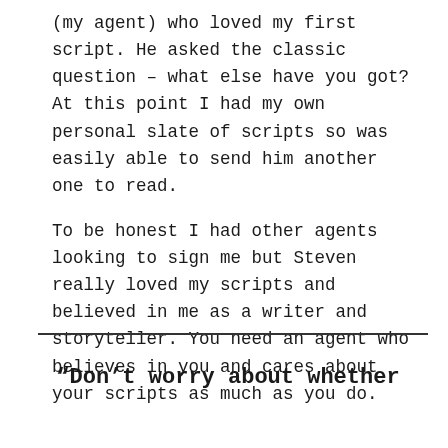(my agent) who loved my first script. He asked the classic question – what else have you got? At this point I had my own personal slate of scripts so was easily able to send him another one to read.

To be honest I had other agents looking to sign me but Steven really loved my scripts and believed in me as a writer and storyteller. You need an agent who believes in you and cares about your scripts as much as you do.
“Don’t worry about whether